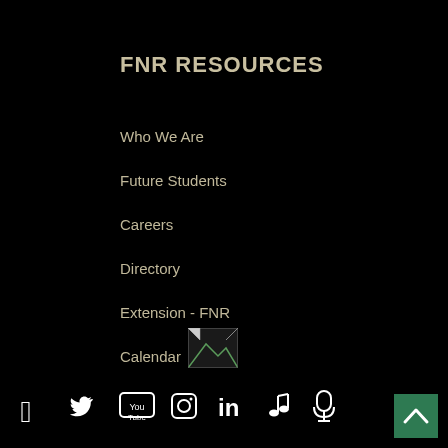FNR RESOURCES
Who We Are
Future Students
Careers
Directory
Extension - FNR
Calendar
[Figure (logo): Broken image placeholder / university logo]
[Figure (infographic): Social media icon bar: Facebook, Twitter, YouTube, Instagram, LinkedIn, Music note, Microphone]